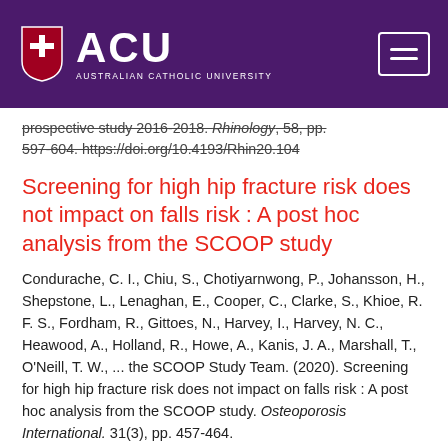[Figure (logo): Australian Catholic University (ACU) logo with shield emblem and navigation hamburger button on purple background header bar]
prospective study 2016-2018. Rhinology, 58, pp. 597-604. https://doi.org/10.4193/Rhin20.104
Screening for high hip fracture risk does not impact on falls risk : A post hoc analysis from the SCOOP study
Condurache, C. I., Chiu, S., Chotiyarnwong, P., Johansson, H., Shepstone, L., Lenaghan, E., Cooper, C., Clarke, S., Khioe, R. F. S., Fordham, R., Gittoes, N., Harvey, I., Harvey, N. C., Heawood, A., Holland, R., Howe, A., Kanis, J. A., Marshall, T., O'Neill, T. W., ... the SCOOP Study Team. (2020). Screening for high hip fracture risk does not impact on falls risk : A post hoc analysis from the SCOOP study. Osteoporosis International. 31(3), pp. 457-464.